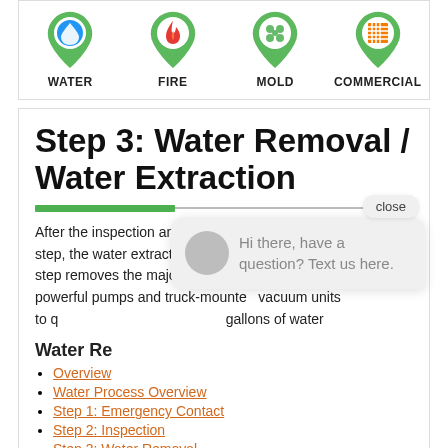[Figure (infographic): Four green map pin icons with icons inside: water (blue droplet), fire (red flame), mold (green dots), commercial (orange grid). Labels: WATER, FIRE, MOLD, COMMERCIAL.]
Step 3: Water Removal / Water Extraction
After the inspection and damage assessment step, the water extraction process begins. This step removes the majority of the water. We use powerful pumps and truck-mounted vacuum units to quickly remove hundreds of gallons of water...
Water Resources
Overview
Water Process Overview
Step 1: Emergency Contact
Step 2: Inspection
Step 3: Water Removal
Step 4: Drying